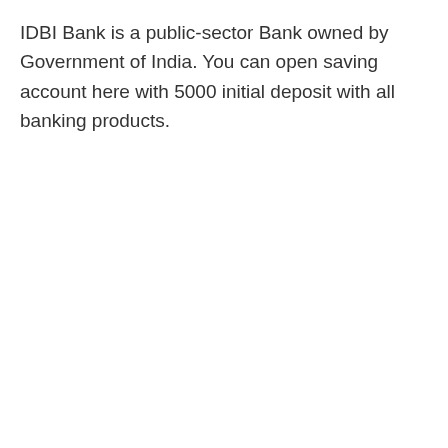IDBI Bank is a public-sector Bank owned by Government of India. You can open saving account here with 5000 initial deposit with all banking products.